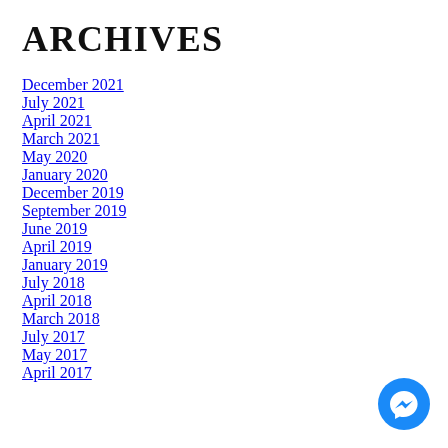ARCHIVES
December 2021
July 2021
April 2021
March 2021
May 2020
January 2020
December 2019
September 2019
June 2019
April 2019
January 2019
July 2018
April 2018
March 2018
July 2017
May 2017
April 2017